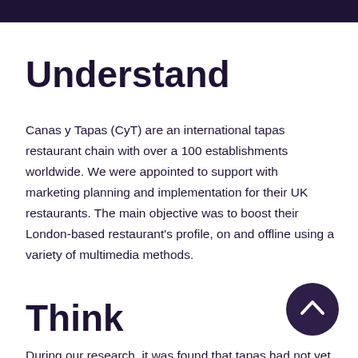Understand
Canas y Tapas (CyT) are an international tapas restaurant chain with over a 100 establishments worldwide. We were appointed to support with marketing planning and implementation for their UK restaurants. The main objective was to boost their London-based restaurant’s profile, on and offline using a variety of multimedia methods.
Think
During our research, it was found that tapas had not yet gained